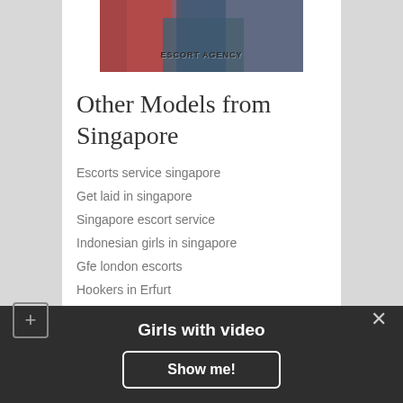[Figure (photo): Partial photo of a person wearing jeans with red foliage background, watermark text ESCORT AGENCY overlaid]
Other Models from Singapore
Escorts service singapore
Get laid in singapore
Singapore escort service
Indonesian girls in singapore
Gfe london escorts
Hookers in Erfurt
Brothels in Nabatiye et Tahta
Slut in Karakol
Erotic massage in Tromso
Girls with video
Show me!